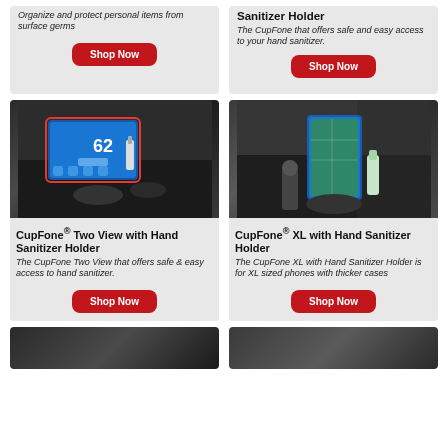Organize and protect personal items from surface germs
Sanitizer Holder
The CupFone that offers safe and easy access to your hand sanitizer.
Shop Now
Shop Now
[Figure (photo): Car interior showing CupFone Two View with Hand Sanitizer Holder mounted in cup holder with phone displaying weather app]
[Figure (photo): Car interior showing CupFone XL with Hand Sanitizer Holder mounted in cup holder with phone and hand sanitizer bottle]
CupFone® Two View with Hand Sanitizer Holder
CupFone® XL with Hand Sanitizer Holder
The CupFone Two View that offers safe & easy access to hand sanitizer.
The CupFone XL with Hand Sanitizer Holder is for XL sized phones with thicker cases
Shop Now
Shop Now
[Figure (photo): Car interior partial view at bottom left]
[Figure (photo): Car interior partial view at bottom right]